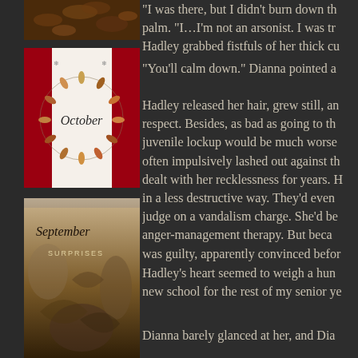[Figure (photo): Top image showing autumn leaves or textured dark surface]
[Figure (illustration): October themed decorative image with circular wreath design on white and red background]
[Figure (illustration): September Surprises book cover with autumn leaf imagery]
“I was there, but I didn’t burn down th… palm. “I…I’m not an arsonist. I was tr… Hadley grabbed fistfuls of her thick cu…
“You’ll calm down.” Dianna pointed a…
Hadley released her hair, grew still, an… respect. Besides, as bad as going to th… juvenile lockup would be much worse… often impulsively lashed out against th… dealt with her recklessness for years. H… in a less destructive way. They’d even… judge on a vandalism charge. She’d be… anger-management therapy. But beca… was guilty, apparently convinced befor…
Hadley’s heart seemed to weigh a hun… new school for the rest of my senior ye…
Dianna barely glanced at her, and Dia…